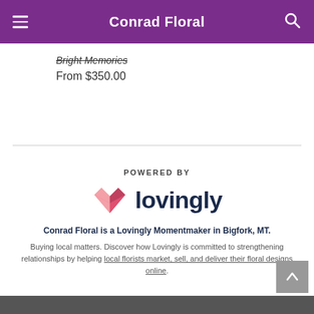Conrad Floral
Bright Memories
From $350.00
POWERED BY
[Figure (logo): Lovingly logo with pink heart/book icon and dark blue 'lovingly' wordmark]
Conrad Floral is a Lovingly Momentmaker in Bigfork, MT.
Buying local matters. Discover how Lovingly is committed to strengthening relationships by helping local florists market, sell, and deliver their floral designs online.